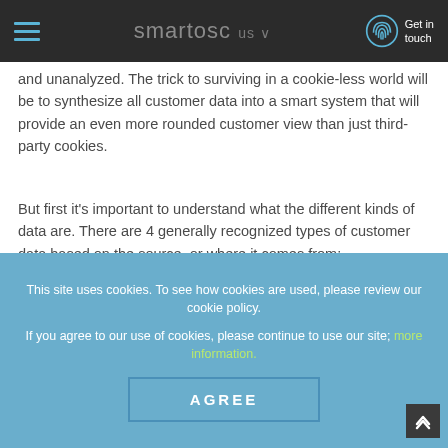smartosc us | Get in touch
and unanalyzed. The trick to surviving in a cookie-less world will be to synthesize all customer data into a smart system that will provide an even more rounded customer view than just third-party cookies.
But first it's important to understand what the different kinds of data are. There are 4 generally recognized types of customer data based on the source, or where it comes from:
Zero-party data
This site uses cookies. To see how cookies are used, please review our cookie policy.

If you agree to our use of cookies, please continue to use our site; more information.

AGREE